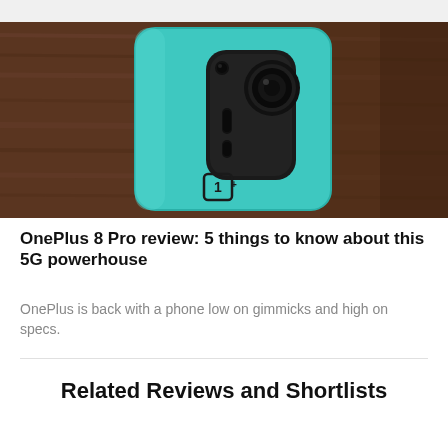[Figure (photo): Back of a teal/green OnePlus 8 Pro smartphone lying on a wooden table, showing the camera module with multiple lenses and the OnePlus logo]
OnePlus 8 Pro review: 5 things to know about this 5G powerhouse
OnePlus is back with a phone low on gimmicks and high on specs.
Related Reviews and Shortlists